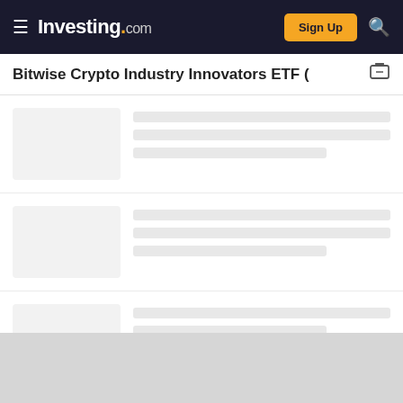Investing.com — Sign Up
Bitwise Crypto Industry Innovators ETF (
[Figure (screenshot): News article card with gray thumbnail placeholder and loading skeleton lines]
[Figure (screenshot): News article card with gray thumbnail placeholder and loading skeleton lines]
[Figure (screenshot): News article card with gray thumbnail placeholder and loading skeleton lines]
[Figure (screenshot): Gray bottom area / loading placeholder]